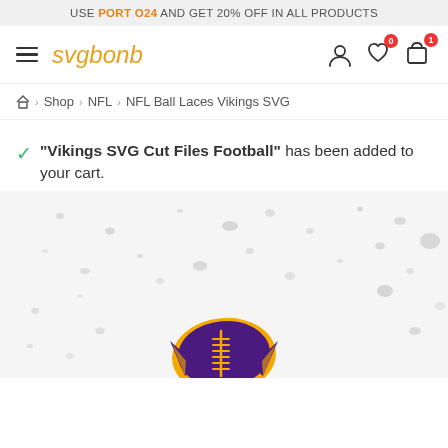USE PORT O24 AND GET 20% OFF IN ALL PRODUCTS
[Figure (logo): svgbonb logo with hamburger menu and nav icons (user, heart with 0 badge, cart with 1 badge)]
Home > Shop > NFL > NFL Ball Laces Vikings SVG
"Vikings SVG Cut Files Football" has been added to your cart.
[Figure (photo): Vikings football SVG product preview - purple and gold football with laces on splattered background]